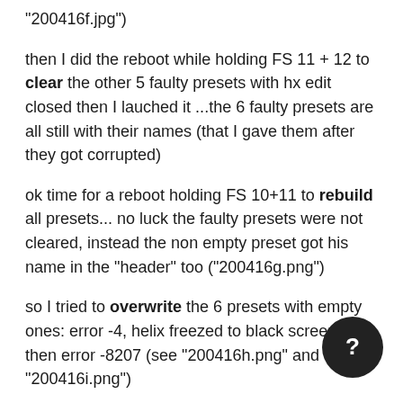"200416f.jpg")
then I did the reboot while holding FS 11 + 12 to clear the other 5 faulty presets with hx edit closed then I lauched it ...the 6 faulty presets are all still with their names (that I gave them after they got corrupted)
ok time for a reboot holding FS 10+11 to rebuild all presets... no luck the faulty presets were not cleared, instead the non empty preset got his name in the "header" too ("200416g.png")
so I tried to overwrite the 6 presets with empty ones: error -4, helix freezed to black screen and then error -8207 (see "200416h.png" and "200416i.png")
then: helix factory reset (9+10 FS pressed on boot), then I moved some presets just over the 82-87 slots of